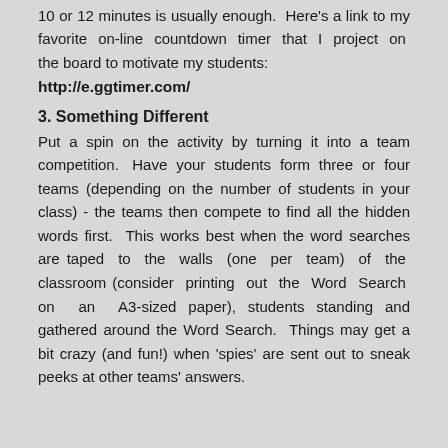10 or 12 minutes is usually enough.  Here's a link to my favorite  on-line  countdown  timer  that  I  project  on  the board to motivate my students:
http://e.ggtimer.com/
3. Something Different
Put  a  spin  on  the  activity  by  turning  it  into  a  team competition.   Have  your  students  form  three  or  four teams (depending on the number of students in your class) - the teams then compete to find all the hidden words first.  This works best when the word searches are taped  to  the  walls  (one  per  team)  of  the  classroom (consider  printing  out  the  Word  Search  on  an  A3-sized paper), students standing and gathered around the Word Search.  Things may get a bit crazy (and fun!) when 'spies' are sent out to sneak peeks at other teams' answers.